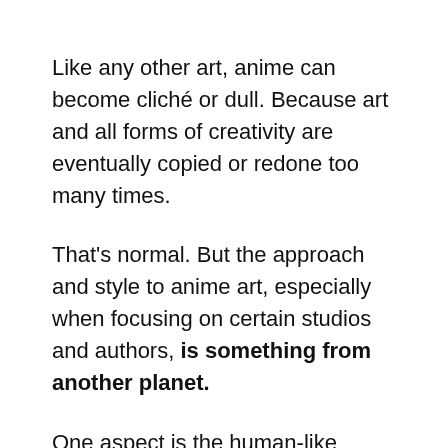Like any other art, anime can become cliché or dull. Because art and all forms of creativity are eventually copied or redone too many times.
That's normal. But the approach and style to anime art, especially when focusing on certain studios and authors, is something from another planet.
One aspect is the human-like designs that refuse to pander to the usual, sometimes ugly “cartoon” designs that are purely unrealistic.
Anime’s human but “animated” design gives it that feeling of fiction, but still lets you relate